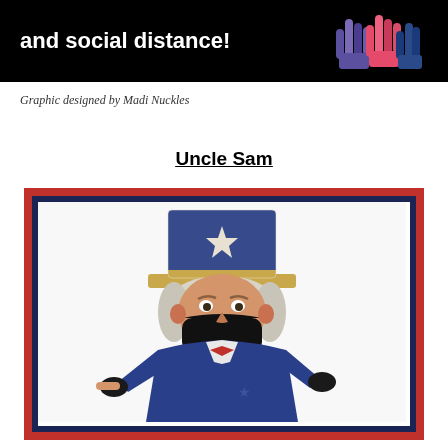[Figure (illustration): Black banner with white bold text reading 'and social distance!' and colorful illustrated hand icons on the right side]
Graphic designed by Madi Nuckles
Uncle Sam
[Figure (illustration): Uncle Sam wearing a black face mask, pointing finger at viewer, dressed in patriotic blue suit and star-spangled top hat, framed with red outer border and dark navy inner border]